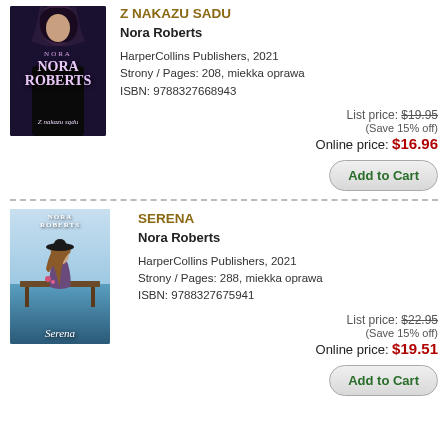[Figure (illustration): Book cover for 'Z Nakazu Sadu' by Nora Roberts - dark purple/black cover with a woman figure at top]
Z NAKAZU SADU
Nora Roberts
HarperCollins Publishers, 2021
Strony / Pages: 208, miekka oprawa
ISBN: 9788327668943
List price: $19.95
(Save 15% off)
Online price: $16.96
[Figure (illustration): Book cover for 'Serena' by Nora Roberts - blue sky and water cover with a woman in a hat]
SERENA
Nora Roberts
HarperCollins Publishers, 2021
Strony / Pages: 288, miekka oprawa
ISBN: 9788327675941
List price: $22.95
(Save 15% off)
Online price: $19.51